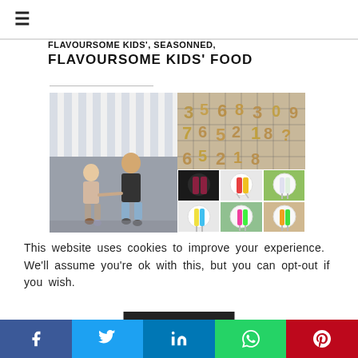FLAVOURSOME KIDS' FOOD
[Figure (photo): Collage image: left side shows two young children holding hands in front of a grey wall with white fence; right side top shows number-shaped cheese crackers on a wire rack; right side bottom shows 6 small photos of colourful popsicles/ice lollies on plates.]
This website uses cookies to improve your experience. We'll assume you're ok with this, but you can opt-out if you wish.